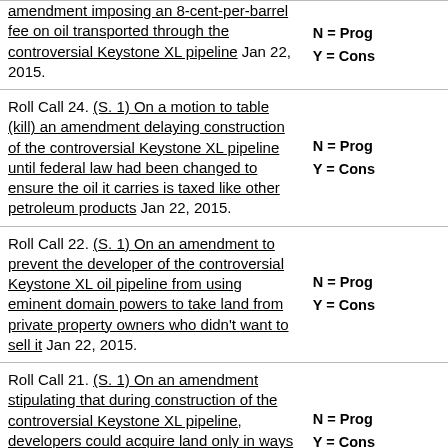| Roll Call / Description | Key |
| --- | --- |
| amendment imposing an 8-cent-per-barrel fee on oil transported through the controversial Keystone XL pipeline Jan 22, 2015. | N = Prog
Y = Cons |
| Roll Call 24. (S. 1) On a motion to table (kill) an amendment delaying construction of the controversial Keystone XL pipeline until federal law had been changed to ensure the oil it carries is taxed like other petroleum products Jan 22, 2015. | N = Prog
Y = Cons |
| Roll Call 22. (S. 1) On an amendment to prevent the developer of the controversial Keystone XL oil pipeline from using eminent domain powers to take land from private property owners who didn't want to sell it Jan 22, 2015. | N = Prog
Y = Cons |
| Roll Call 21. (S. 1) On an amendment stipulating that during construction of the controversial Keystone XL pipeline, developers could acquire land only in ways consistent with constitutional protections of private property rights Jan 22, 2015. | N = Prog
Y = Cons |
| Roll Call 19. (S. 1) On an amendment to require Canadian energy companies to pay an 8-cent-per- | N = Prog |